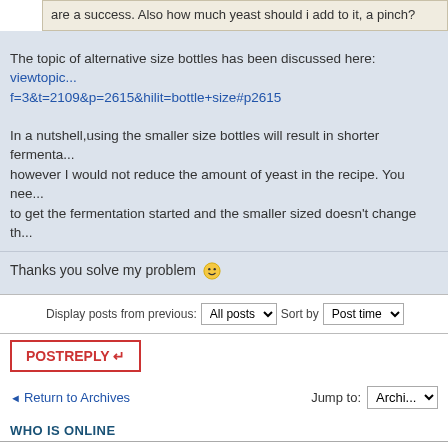are a success. Also how much yeast should i add to it, a pinch?
The topic of alternative size bottles has been discussed here: viewtopic... f=3&t=2109&p=2615&hilit=bottle+size#p2615
In a nutshell,using the smaller size bottles will result in shorter fermenta... however I would not reduce the amount of yeast in the recipe. You nee... to get the fermentation started and the smaller sized doesn't change th...
Thanks you solve my problem 😀
Display posts from previous: All posts  Sort by Post time
POSTREPLY
Return to Archives
Jump to: Archives
WHO IS ONLINE
Users browsing this forum: No registered users and 2 guests
Board index   The team •